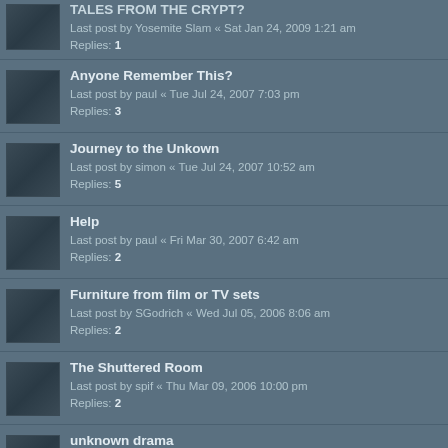TALES FROM THE CRYPT? Last post by Yosemite Slam « Sat Jan 24, 2009 1:21 am Replies: 1
Anyone Remember This? Last post by paul « Tue Jul 24, 2007 7:03 pm Replies: 3
Journey to the Unkown Last post by simon « Tue Jul 24, 2007 10:52 am Replies: 5
Help Last post by paul « Fri Mar 30, 2007 6:42 am Replies: 2
Furniture from film or TV sets Last post by SGodrich « Wed Jul 05, 2006 8:06 am Replies: 2
The Shuttered Room Last post by spif « Thu Mar 09, 2006 10:00 pm Replies: 2
unknown drama Last post by spif « Wed Mar 08, 2006 9:53 pm Replies: 2
Just saw "House of 9" Last post by GhostPhase310 « Thu Jan 26, 2006 12:46 am
Anyone remember this one?